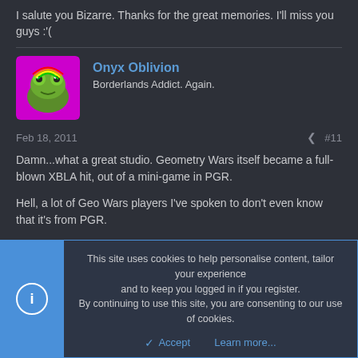I salute you Bizarre. Thanks for the great memories. I'll miss you guys :'(
Onyx Oblivion
Borderlands Addict. Again.
Feb 18, 2011
#11
Damn...what a great studio. Geometry Wars itself became a full-blown XBLA hit, out of a mini-game in PGR.

Hell, a lot of Geo Wars players I've spoken to don't even know that it's from PGR.
This site uses cookies to help personalise content, tailor your experience and to keep you logged in if you register.
By continuing to use this site, you are consenting to our use of cookies.
Accept   Learn more...